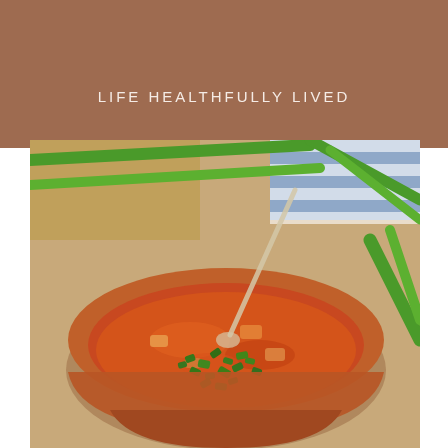LIFE HEALTHFULLY LIVED
[Figure (photo): A terracotta bowl of soup garnished with chopped fresh herbs (parsley), with a clear glass spoon resting in it. Green onion stalks and a blue and white striped cloth are visible in the background on a wooden surface.]